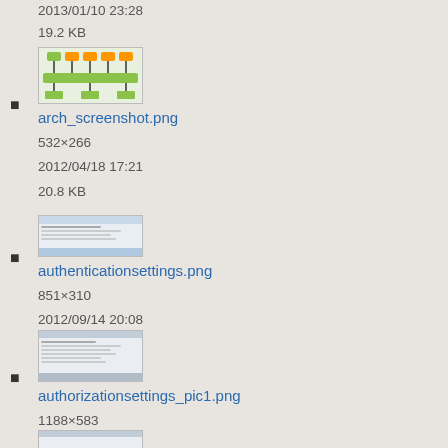2013/01/10 23:28
19.2 KB
arch_screenshot.png
532×266
2012/04/18 17:21
20.8 KB
authenticationsettings.png
851×310
2012/09/14 20:08
21.2 KB
authorizationsettings_pic1.png
1188×583
2013/08/08 23:37
19.7 KB